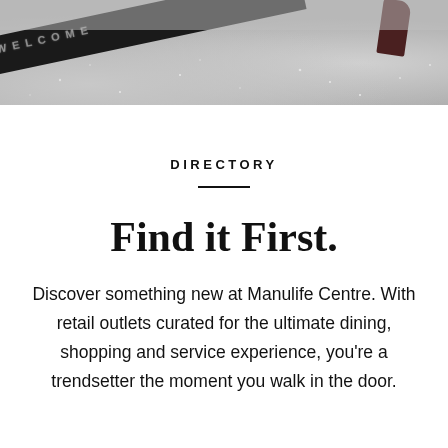[Figure (photo): Top portion of a photo showing a glittery doormat with a diagonal black welcome mat stripe and a dark red high-heel shoe visible at the top right, against a sparkly grey ground texture.]
DIRECTORY
Find it First.
Discover something new at Manulife Centre. With retail outlets curated for the ultimate dining, shopping and service experience, you're a trendsetter the moment you walk in the door.